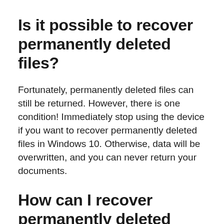Is it possible to recover permanently deleted files?
Fortunately, permanently deleted files can still be returned. However, there is one condition! Immediately stop using the device if you want to recover permanently deleted files in Windows 10. Otherwise, data will be overwritten, and you can never return your documents.
How can I recover permanently deleted files without backup?
1. Restore Permanently Deleted Files without